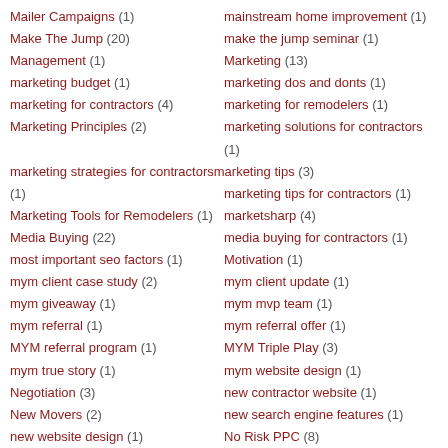Mailer Campaigns (1)
mainstream home improvement (1)
Make The Jump (20)
make the jump seminar (1)
Management (1)
Marketing (13)
marketing budget (1)
marketing dos and donts (1)
marketing for contractors (4)
marketing for remodelers (1)
Marketing Principles (2)
marketing solutions for contractors (1)
marketing strategies for contractors (1)
marketing tips (3)
marketing tips for contractors (1)
Marketing Tools for Remodelers (1)
marketsharp (4)
Media Buying (22)
media buying for contractors (1)
most important seo factors (1)
Motivation (1)
mym client case study (2)
mym client update (1)
mym giveaway (1)
mym mvp team (1)
mym referral (1)
mym referral offer (1)
MYM referral program (1)
MYM Triple Play (3)
mym true story (1)
mym website design (1)
Negotiation (3)
new contractor website (1)
New Movers (2)
new search engine features (1)
new website design (1)
No Risk PPC (8)
No Risk PPC Lead Generation (3)
offering financing (1)